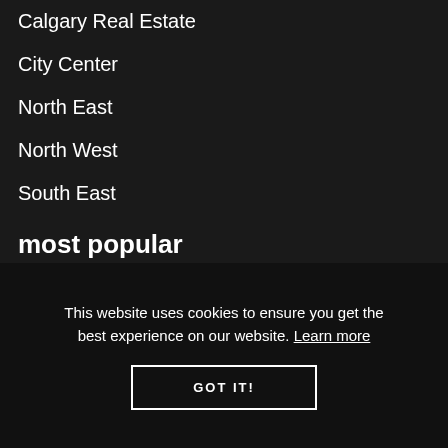Calgary Real Estate
City Center
North East
North West
South East
most popular
No listing…
This website uses cookies to ensure you get the best experience on our website. Learn more
GOT IT!